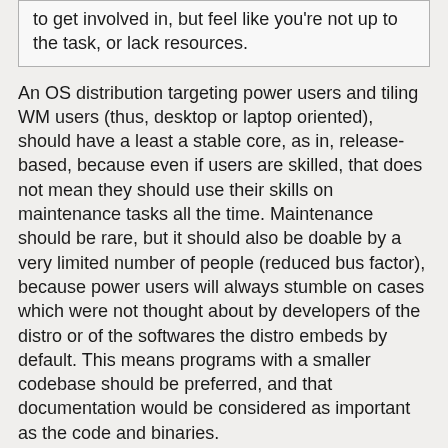to get involved in, but feel like you're not up to the task, or lack resources.
An OS distribution targeting power users and tiling WM users (thus, desktop or laptop oriented), should have a least a stable core, as in, release-based, because even if users are skilled, that does not mean they should use their skills on maintenance tasks all the time. Maintenance should be rare, but it should also be doable by a very limited number of people (reduced bus factor), because power users will always stumble on cases which were not thought about by developers of the distro or of the softwares the distro embeds by default. This means programs with a smaller codebase should be preferred, and that documentation would be considered as important as the code and binaries.
I would like this distro to be network-able by default, which is not limited to be a good DHCP client, but also would be ready to use credentials from another system (LDAP+KRB5, SMB...).
This means notably that it should be as fully automated as